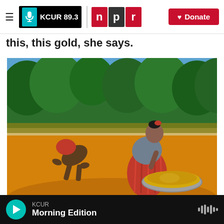KCUR 89.3 | npr | Donate
this, this gold,  she says.
[Figure (photo): Two women panning for gold in a shallow muddy river with orange-brown sediment. One woman in a red headscarf bends low over the mud; another in a red striped skirt leans over a large metal pan filled with gold-colored sand. Green tropical forest in the background under a blue sky.]
/ Samantha Reinders For NPR / Samantha Reinders For NPR
KCUR Morning Edition